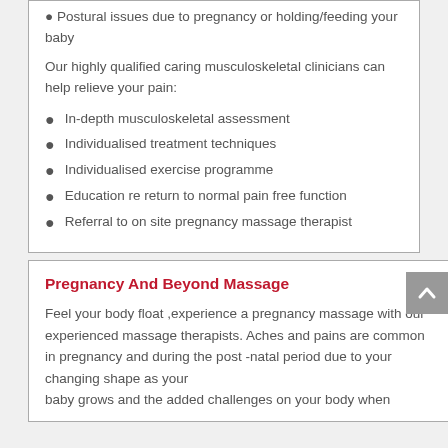Postural issues due to pregnancy or holding/feeding your baby
Our highly qualified caring musculoskeletal clinicians can help relieve your pain:
In-depth musculoskeletal assessment
Individualised treatment techniques
Individualised exercise programme
Education re return to normal pain free function
Referral to on site pregnancy massage therapist
Pregnancy And Beyond Massage
Feel your body float ,experience a pregnancy massage with our experienced massage therapists. Aches and pains are common in pregnancy and during the post -natal period due to your changing shape as your baby grows and the added challenges on your body when